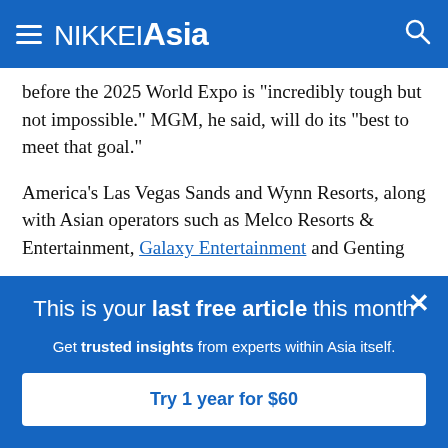NIKKEI Asia
before the 2025 World Expo is "incredibly tough but not impossible." MGM, he said, will do its "best to meet that goal."
America's Las Vegas Sands and Wynn Resorts, along with Asian operators such as Melco Resorts & Entertainment, Galaxy Entertainment and Genting
This is your last free article this month
Get trusted insights from experts within Asia itself.
Try 1 year for $60